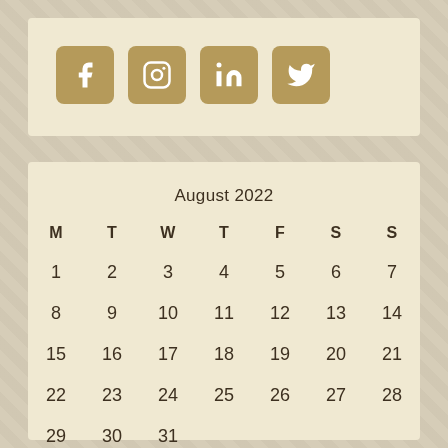[Figure (infographic): Four social media icon buttons (Facebook, Instagram, LinkedIn, Twitter) in gold/tan rounded squares on a cream background]
| M | T | W | T | F | S | S |
| --- | --- | --- | --- | --- | --- | --- |
| 1 | 2 | 3 | 4 | 5 | 6 | 7 |
| 8 | 9 | 10 | 11 | 12 | 13 | 14 |
| 15 | 16 | 17 | 18 | 19 | 20 | 21 |
| 22 | 23 | 24 | 25 | 26 | 27 | 28 |
| 29 | 30 | 31 |  |  |  |  |